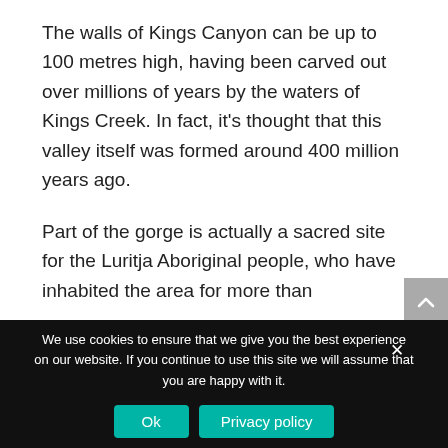The walls of Kings Canyon can be up to 100 metres high, having been carved out over millions of years by the waters of Kings Creek. In fact, it's thought that this valley itself was formed around 400 million years ago.
Part of the gorge is actually a sacred site for the Luritja Aboriginal people, who have inhabited the area for more than
We use cookies to ensure that we give you the best experience on our website. If you continue to use this site we will assume that you are happy with it.